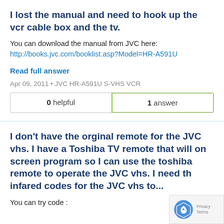I lost the manual and need to hook up the vcr cable box and the tv.
You can download the manual from JVC here:
http://books.jvc.com/booklist.asp?Model=HR-A591U
Read full answer
Apr 09, 2011 • JVC HR-A591U S-VHS VCR
| 0 helpful | 1 answer |
I don't have the orginal remote for the JVC vhs. I have a Toshiba TV remote that will on screen program so I can use the toshiba remote to operate the JVC vhs. I need th infared codes for the JVC vhs to...
You can try code :